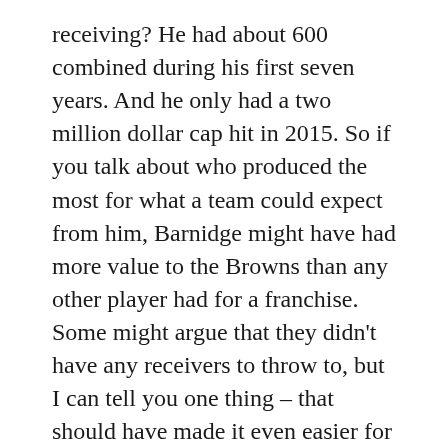receiving? He had about 600 combined during his first seven years. And he only had a two million dollar cap hit in 2015. So if you talk about who produced the most for what a team could expect from him, Barnidge might have had more value to the Browns than any other player had for a franchise. Some might argue that they didn't have any receivers to throw to, but I can tell you one thing – that should have made it even easier for defenses to focus on Barnidge in the passing game.
On defense I went with another